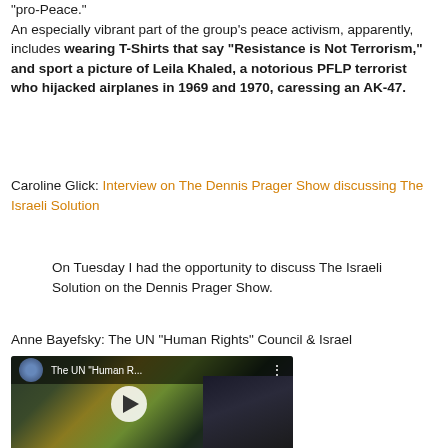“pro-Peace.”
An especially vibrant part of the group’s peace activism, apparently, includes wearing T-Shirts that say “Resistance is Not Terrorism,” and sport a picture of Leila Khaled, a notorious PFLP terrorist who hijacked airplanes in 1969 and 1970, caressing an AK-47.
Caroline Glick: Interview on The Dennis Prager Show discussing The Israeli Solution
On Tuesday I had the opportunity to discuss The Israeli Solution on the Dennis Prager Show.
Anne Bayefsky: The UN “Human Rights” Council & Israel
[Figure (screenshot): YouTube video thumbnail showing 'The UN Human R...' with a play button, showing a scene from what appears to be a UN meeting or conference room with figures visible.]